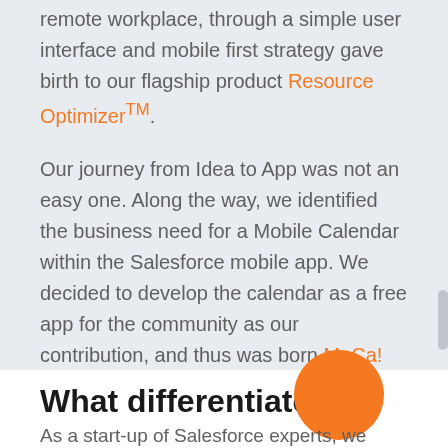remote workplace, through a simple user interface and mobile first strategy gave birth to our flagship product Resource Optimizer™.
Our journey from Idea to App was not an easy one. Along the way, we identified the business need for a Mobile Calendar within the Salesforce mobile app. We decided to develop the calendar as a free app for the community as our contribution, and thus was born MoCa!
What differentiates us
As a start-up of Salesforce experts, we have had lot of